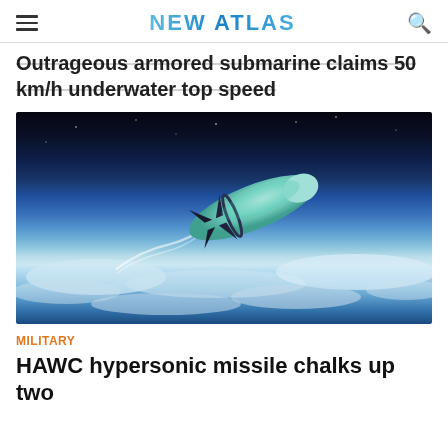NEW ATLAS
Outrageous armored submarine claims 50 km/h underwater top speed
[Figure (photo): Rendering of a hypersonic missile (HAWC) flying through the upper atmosphere above clouds, with a glowing green nose cone and fin attachments, against a dark space background with a blue Earth horizon.]
MILITARY
HAWC hypersonic missile chalks up two successful flight missions